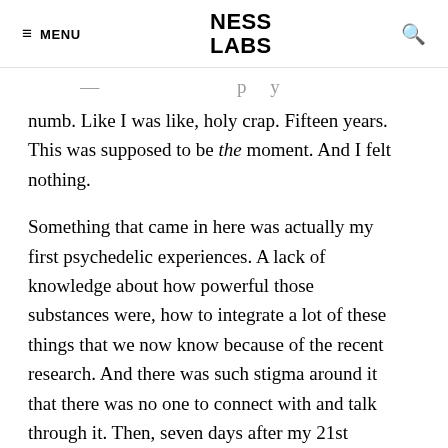MENU  NESS LABS  🔍
numb. Like I was like, holy crap. Fifteen years. This was supposed to be the moment. And I felt nothing.
Something that came in here was actually my first psychedelic experiences. A lack of knowledge about how powerful those substances were, how to integrate a lot of these things that we now know because of the recent research. And there was such stigma around it that there was no one to connect with and talk through it. Then, seven days after my 21st